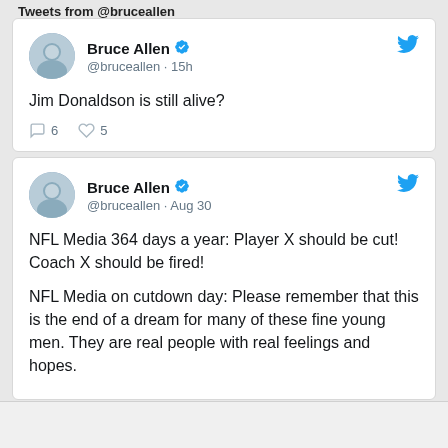Tweets from @brucealien
Bruce Allen @bruceallen · 15h
Jim Donaldson is still alive?
6 replies, 5 likes
Bruce Allen @bruceallen · Aug 30
NFL Media 364 days a year: Player X should be cut! Coach X should be fired!

NFL Media on cutdown day: Please remember that this is the end of a dream for many of these fine young men. They are real people with real feelings and hopes.